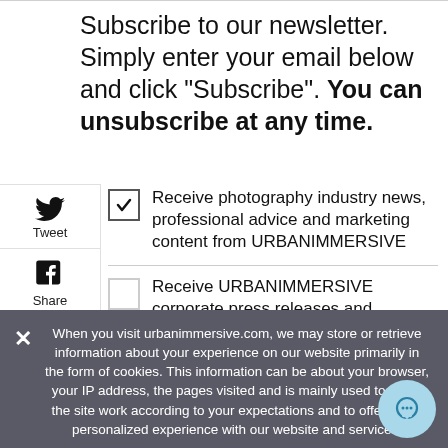Subscribe to our newsletter. Simply enter your email below and click "Subscribe". You can unsubscribe at any time.
Receive photography industry news, professional advice and marketing content from URBANIMMERSIVE
Receive URBANIMMERSIVE corporate press releases and investors relation news
When you visit urbanimmersive.com, we may store or retrieve information about your experience on our website primarily in the form of cookies. This information can be about your browser, your IP address, the pages visited and is mainly used to make the site work according to your expectations and to offer you a personalized experience with our website and services.